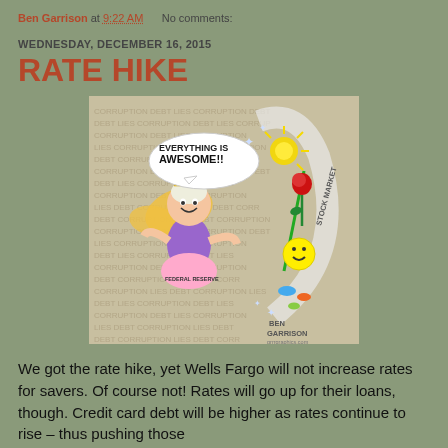Ben Garrison at 9:22 AM    No comments:
WEDNESDAY, DECEMBER 16, 2015
RATE HIKE
[Figure (illustration): Ben Garrison political cartoon showing a fairy-like Federal Reserve figure (Janet Yellen) with golden wings and a tiara, wearing a purple top and pink skirt labeled 'FEDERAL RESERVE', saying 'EVERYTHING IS AWESOME!!' in a speech bubble. The background is filled with faded text 'DEBT LIES CORRUPTION'. On the right side of the cartoon is a swirling arc labeled 'STOCK MARKET' with a sun, a rose with a green upward arrow, a smiley face, and colorful fish/bubbles. Signed 'BEN GARRISON'.]
We got the rate hike, yet Wells Fargo will not increase rates for savers. Of course not! Rates will go up for their loans, though. Credit card debt will be higher as rates continue to rise – thus pushing those